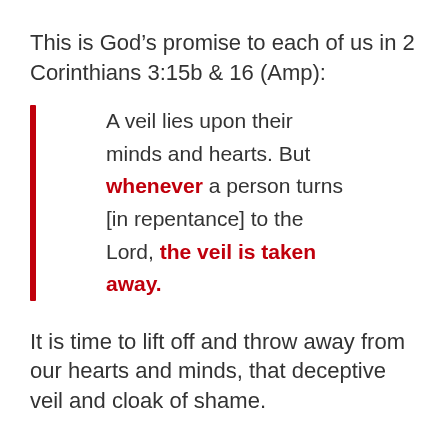This is God's promise to each of us in 2 Corinthians 3:15b & 16 (Amp):
A veil lies upon their minds and hearts. But whenever a person turns [in repentance] to the Lord, the veil is taken away.
It is time to lift off and throw away from our hearts and minds, that deceptive veil and cloak of shame.